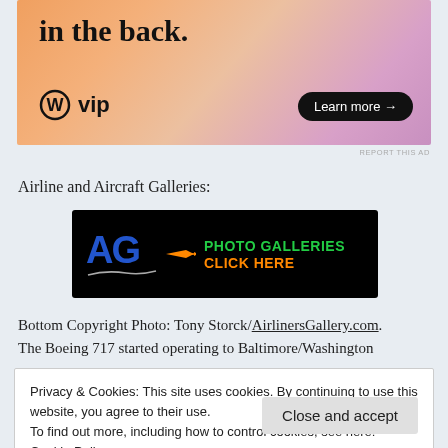[Figure (illustration): WordPress VIP advertisement banner with peach/pink gradient background. Text reads 'in the back.' with WordPress logo and 'vip' text. 'Learn more →' button on right.]
REPORT THIS AD
Airline and Aircraft Galleries:
[Figure (illustration): AirlinersGallery.com black banner with blue 'AG' logo, orange airplane, green 'PHOTO GALLERIES' text, and orange 'CLICK HERE' text.]
Bottom Copyright Photo: Tony Storck/AirlinersGallery.com. The Boeing 717 started operating to Baltimore/Washington
Privacy & Cookies: This site uses cookies. By continuing to use this website, you agree to their use.
To find out more, including how to control cookies, see here: Cookie Policy
Close and accept